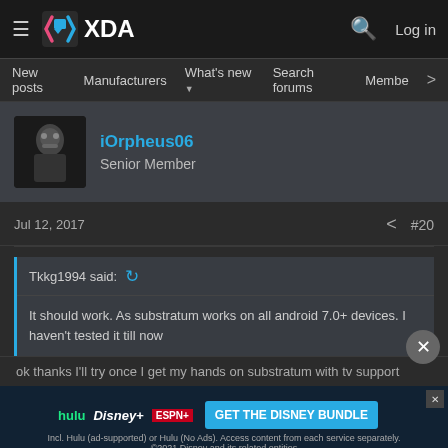XDA Forums - Navigation bar with New posts, Manufacturers, What's new, Search forums, Members
iOrpheus06
Senior Member
Jul 12, 2017   #20
Tkkg1994 said:
It should work. As substratum works on all android 7.0+ devices. I haven't tested it till now
ok thanks I'll try once I get my hands on substratum with tv support
[Figure (screenshot): Disney Bundle advertisement banner with Hulu, Disney+, ESPN+ logos and GET THE DISNEY BUNDLE button]